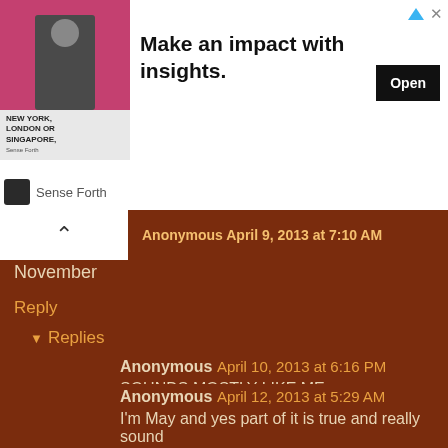[Figure (screenshot): Advertisement banner: image of a person, text 'NEW YORK, LONDON OR SINGAPORE', headline 'Make an impact with insights.', Open button, Sense Forth branding]
Anonymous April 9, 2013 at 7:10 AM
November
Reply
Replies
Anonymous April 10, 2013 at 6:16 PM
SOUNDS MOSTLY LIKE ME
Anonymous April 11, 2013 at 10:46 AM
yes thats me and proud
Anonymous April 12, 2013 at 5:29 AM
I'm May and yes part of it is true and really sound